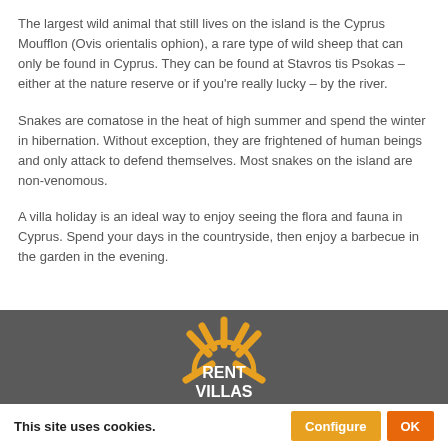The largest wild animal that still lives on the island is the Cyprus Moufflon (Ovis orientalis ophion), a rare type of wild sheep that can only be found in Cyprus. They can be found at Stavros tis Psokas – either at the nature reserve or if you're really lucky – by the river.
Snakes are comatose in the heat of high summer and spend the winter in hibernation. Without exception, they are frightened of human beings and only attack to defend themselves. Most snakes on the island are non-venomous.
A villa holiday is an ideal way to enjoy seeing the flora and fauna in Cyprus. Spend your days in the countryside, then enjoy a barbecue in the garden in the evening.
[Figure (logo): Rent Villas sun logo with orange sun rays and white text RENT VILLAS on dark grey background]
This site uses cookies.